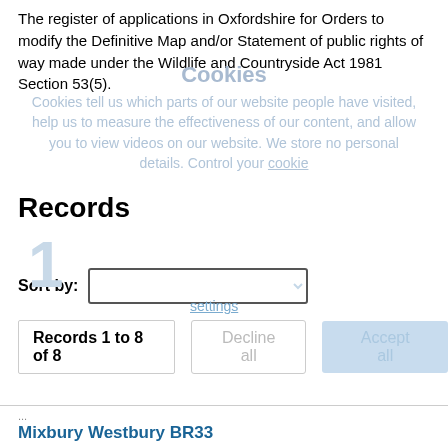The register of applications in Oxfordshire for Orders to modify the Definitive Map and/or Statement of public rights of way made under the Wildlife and Countryside Act 1981 Section 53(5).
Records
Sort by:
Records 1 to 8 of 8
View filters
Mixbury Westbury BR33
Our reference:
02965
Applicant name(s):
Westbury Parish Council, 6 Orchard Place, Westbury Brackley,